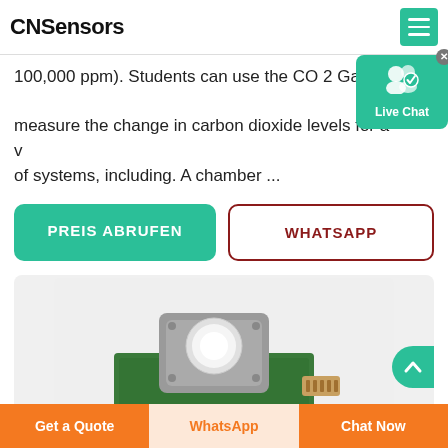CNSensors
100,000 ppm). Students can use the CO 2 Gas Sensor measure the change in carbon dioxide levels for a variety of systems, including. A chamber ...
[Figure (screenshot): Live Chat popup button with user icon and checkmark badge]
PREIS ABRUFEN
WHATSAPP
[Figure (photo): CO2 gas sensor module on green PCB with gray metal top and connector]
Get a Quote | WhatsApp | Chat Now